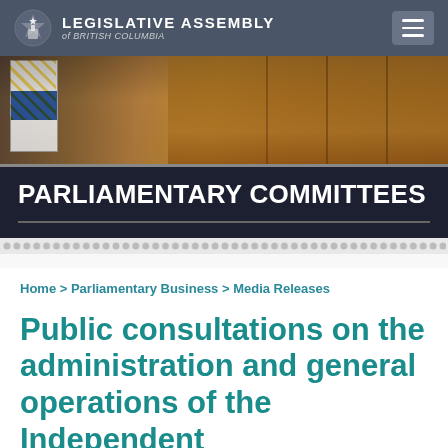LEGISLATIVE ASSEMBLY of BRITISH COLUMBIA
[Figure (photo): Hero photograph of the Legislative Assembly interior showing wooden paneling and a BC flag]
PARLIAMENTARY COMMITTEES
Home > Parliamentary Business > Media Releases
Public consultations on the administration and general operations of the Independent